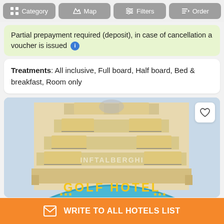Category | Map | Filters | Order
Partial prepayment required (deposit), in case of cancellation a voucher is issued
Treatments: All inclusive, Full board, Half board, Bed & breakfast, Room only
[Figure (photo): Photo of Golf Hotel building exterior, lower angle shot showing multiple floors with balconies and a blue curved sign reading GOLF HOTEL with stars. Watermark text INFTALBERGHI visible.]
WRITE TO ALL HOTELS LIST